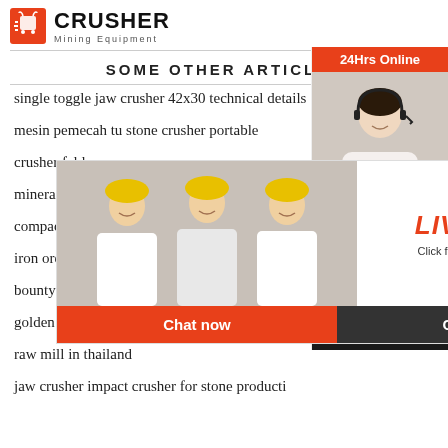[Figure (logo): Crusher Mining Equipment logo with red shopping bag icon and bold CRUSHER text]
SOME OTHER ARTICLES
single toggle jaw crusher 42x30 technical details
mesin pemecah tu stone crusher portable
crusher felds
minerals and
compact and
iron ore dry grinding mill china search results
bounty fresh food inc
golden mill sierra leone
raw mill in thailand
jaw crusher impact crusher for stone producti
[Figure (screenshot): Live Chat popup overlay with workers in hard hats, red LIVE CHAT text, Chat now and Chat later buttons]
[Figure (screenshot): Right sidebar with 24Hrs Online, customer service agent photo, Need questions & suggestion? Chat Now, Enquiry, limingjlmofen@sina.com]